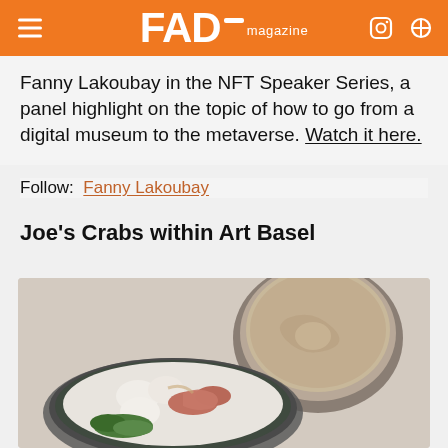FAD magazine
Fanny Lakoubay in the NFT Speaker Series, a panel highlight on the topic of how to go from a digital museum to the metaverse. Watch it here.
Follow: Fanny Lakoubay
Joe's Crabs within Art Basel
[Figure (photo): A food photo showing a bowl with a creamy beige dip/sauce, and a plate with seafood items including what appears to be crab/shellfish and green vegetables]